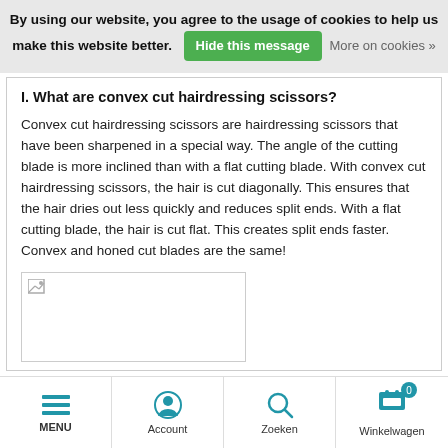By using our website, you agree to the usage of cookies to help us make this website better. Hide this message More on cookies »
I. What are convex cut hairdressing scissors?
Convex cut hairdressing scissors are hairdressing scissors that have been sharpened in a special way. The angle of the cutting blade is more inclined than with a flat cutting blade. With convex cut hairdressing scissors, the hair is cut diagonally. This ensures that the hair dries out less quickly and reduces split ends. With a flat cutting blade, the hair is cut flat. This creates split ends faster. Convex and honed cut blades are the same!
[Figure (photo): Broken image placeholder for a product photo]
MENU | Account | Zoeken | Winkelwagen 0